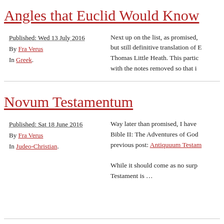Angles that Euclid Would Know
Published: Wed 13 July 2016
By Fra Verus
In Greek.
Next up on the list, as promised, but still definitive translation of E Thomas Little Heath. This partic with the notes removed so that i
Novum Testamentum
Published: Sat 18 June 2016
By Fra Verus
In Judeo-Christian.
Way later than promised, I have Bible II: The Adventures of God previous post: Antiquuum Testam
While it should come as no surp Testament is …